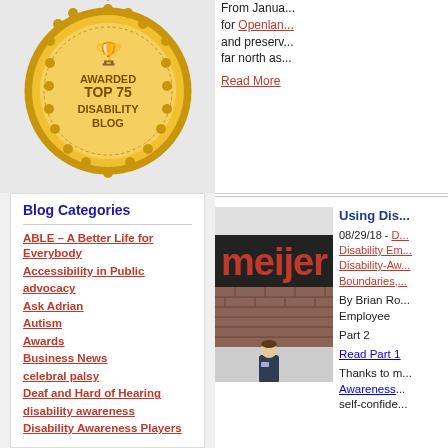[Figure (illustration): Gold award badge/seal with trophy icon at top, text reading AWARDED TOP 75 DISABILITY BLOG in the center, decorative ribbon at top]
Blog Categories
ABLE – A Better Life for Everybody
Accessibility in Public
advocacy
Ask Adrian
Autism
Awards
Business News
celebral palsy
Deaf and Hard of Hearing
disability awareness
Disability Awareness Players
From Janua... for Openlan... and preserv... far north as...
Read More
[Figure (photo): Photo of a man standing in front of a Meijer store, the store sign with large red letters MEIJER visible. The man is wearing a dark shirt and khaki pants with a name badge.]
Using Dis...
08/29/18 - D... Disability Em... Disability-Aw... Boundaries,...
By Brian Ro... Employee
Part 2
Read Part 1
Thanks to m... Awareness... self-confide...